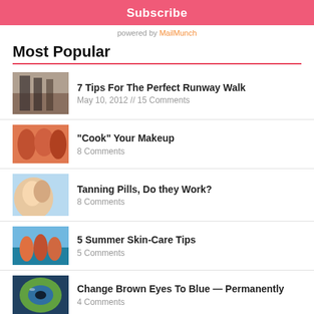Subscribe
powered by MailMunch
Most Popular
7 Tips For The Perfect Runway Walk
May 10, 2012 // 15 Comments
“Cook” Your Makeup
8 Comments
Tanning Pills, Do they Work?
8 Comments
5 Summer Skin-Care Tips
5 Comments
Change Brown Eyes To Blue — Permanently
4 Comments